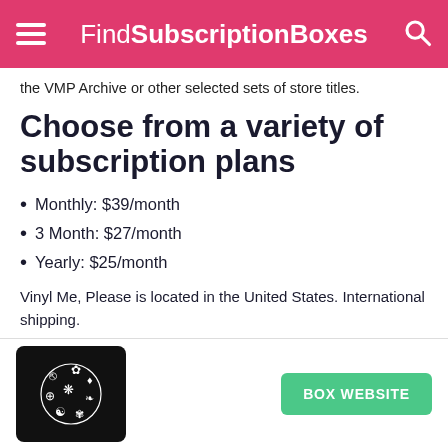FindSubscriptionBoxes
the VMP Archive or other selected sets of store titles.
Choose from a variety of subscription plans
Monthly: $39/month
3 Month: $27/month
Yearly: $25/month
Vinyl Me, Please is located in the United States. International shipping.
[Figure (logo): Vinyl Me Please logo on black background with decorative circular pattern]
BOX WEBSITE